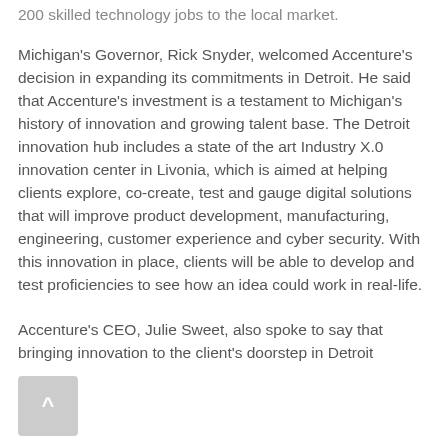200 skilled technology jobs to the local market.
Michigan's Governor, Rick Snyder, welcomed Accenture's decision in expanding its commitments in Detroit. He said that Accenture's investment is a testament to Michigan's history of innovation and growing talent base. The Detroit innovation hub includes a state of the art Industry X.0 innovation center in Livonia, which is aimed at helping clients explore, co-create, test and gauge digital solutions that will improve product development, manufacturing, engineering, customer experience and cyber security. With this innovation in place, clients will be able to develop and test proficiencies to see how an idea could work in real-life.
Accenture's CEO, Julie Sweet, also spoke to say that bringing innovation to the client's doorstep in Detroit